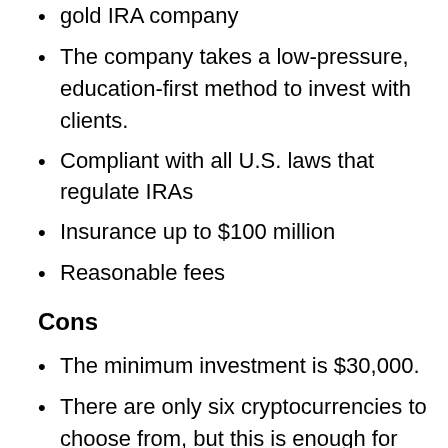gold IRA company
The company takes a low-pressure, education-first method to invest with clients.
Compliant with all U.S. laws that regulate IRAs
Insurance up to $100 million
Reasonable fees
Cons
The minimum investment is $30,000.
There are only six cryptocurrencies to choose from, but this is enough for most investors.